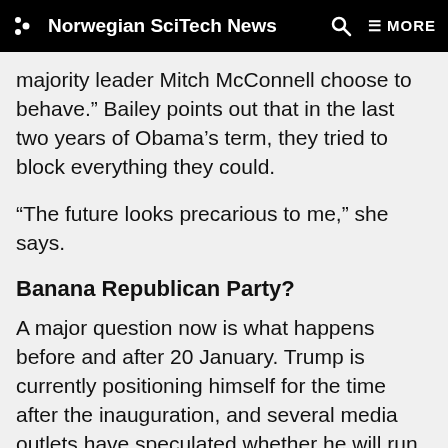Norwegian SciTech News
majority leader Mitch McConnell choose to behave.” Bailey points out that in the last two years of Obama’s term, they tried to block everything they could.
“The future looks precarious to me,” she says.
Banana Republican Party?
A major question now is what happens before and after 20 January. Trump is currently positioning himself for the time after the inauguration, and several media outlets have speculated whether he will run for president again in four years.
Many Republican politicians are reluctant to